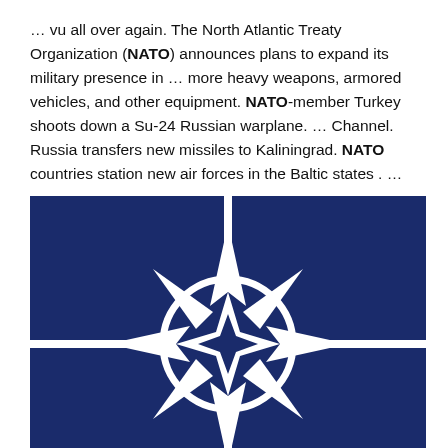… vu all over again. The North Atlantic Treaty Organization (NATO) announces plans to expand its military presence in … more heavy weapons, armored vehicles, and other equipment. NATO-member Turkey shoots down a Su-24 Russian warplane. … Channel. Russia transfers new missiles to Kaliningrad. NATO countries station new air forces in the Baltic states . …
[Figure (illustration): NATO flag — dark navy blue background with the NATO compass rose emblem (white 4-pointed star with a circle) centered on the flag.]